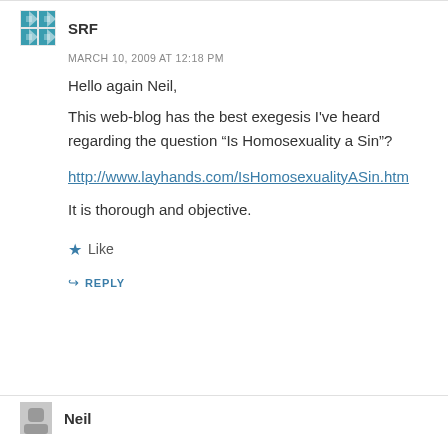SRF
MARCH 10, 2009 AT 12:18 PM
Hello again Neil,

This web-blog has the best exegesis I've heard regarding the question “Is Homosexuality a Sin”?

http://www.layhands.com/IsHomosexualityASin.htm

It is thorough and objective.
Like
REPLY
Neil